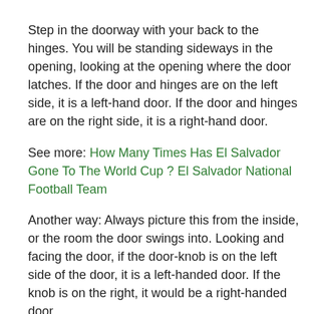Step in the doorway with your back to the hinges. You will be standing sideways in the opening, looking at the opening where the door latches. If the door and hinges are on the left side, it is a left-hand door. If the door and hinges are on the right side, it is a right-hand door.
See more: How Many Times Has El Salvador Gone To The World Cup ? El Salvador National Football Team
Another way: Always picture this from the inside, or the room the door swings into. Looking and facing the door, if the door-knob is on the left side of the door, it is a left-handed door. If the knob is on the right, it would be a right-handed door.
You can also determine the swing of the door based